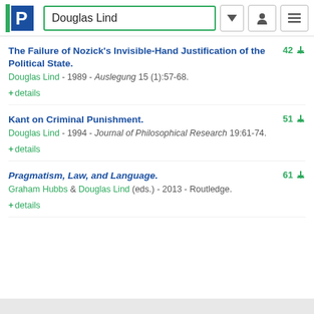Douglas Lind
The Failure of Nozick's Invisible-Hand Justification of the Political State. Douglas Lind - 1989 - Auslegung 15 (1):57-68. + details [42 downloads]
Kant on Criminal Punishment. Douglas Lind - 1994 - Journal of Philosophical Research 19:61-74. + details [51 downloads]
Pragmatism, Law, and Language. Graham Hubbs & Douglas Lind (eds.) - 2013 - Routledge. + details [61 downloads]